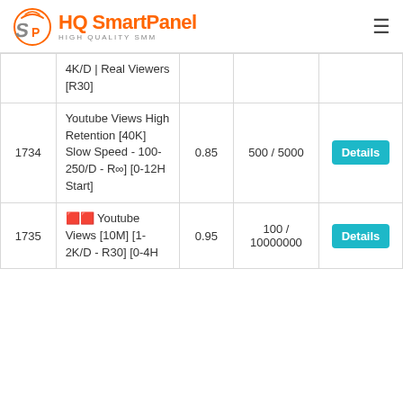HQ SmartPanel — HIGH QUALITY SMM
| ID | Name | Rate | Min/Max | Action |
| --- | --- | --- | --- | --- |
|  | 4K/D | Real Viewers [R30] |  |  |  |
| 1734 | Youtube Views High Retention [40K] Slow Speed - 100-250/D - R∞] [0-12H Start] | 0.85 | 500 / 5000 | Details |
| 1735 | 🟥🟥 Youtube Views [10M] [1-2K/D - R30] [0-4H | 0.95 | 100 / 10000000 | Details |